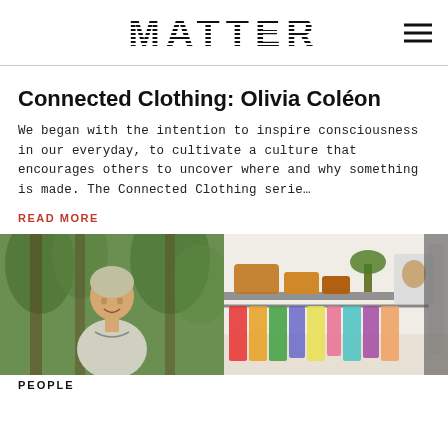MATTER
Connected Clothing: Olivia Coléon
We began with the intention to inspire consciousness in our everyday, to cultivate a culture that encourages others to uncover where and why something is made. The Connected Clothing serie…
READ MORE
[Figure (photo): Two side-by-side photos: left shows a smiling Asian woman with short hair outdoors among greenery; right shows a clothing rack with colorful garments and a shelf above with accessories and a plant.]
PEOPLE